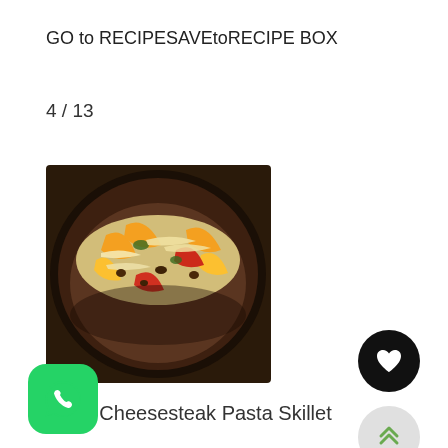GO to RECIPESAVEtoRECIPE BOX
4 / 13
[Figure (photo): A skillet dish with colorful bell peppers (yellow, orange, red), pasta and ground meat topped with shredded cheese - a Philly Cheesesteak Pasta Skillet]
Philly Cheesesteak Pasta Skillet
[Figure (illustration): Black circular button with white heart icon (favorites/save button)]
[Figure (illustration): Light gray circular button with green double chevron up arrows (scroll to top button)]
[Figure (logo): WhatsApp logo - green rounded square with white phone/chat icon]